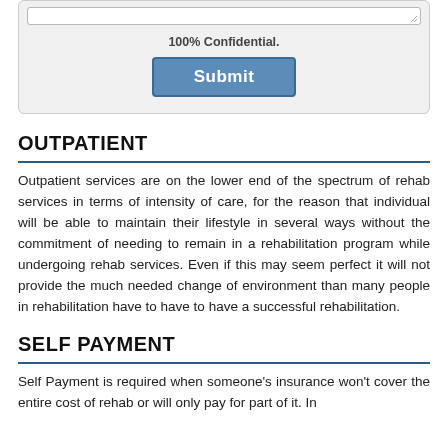[Figure (screenshot): A form box with a textarea (top), a '100% Confidential.' label, and a blue Submit button]
100% Confidential.
OUTPATIENT
Outpatient services are on the lower end of the spectrum of rehab services in terms of intensity of care, for the reason that individual will be able to maintain their lifestyle in several ways without the commitment of needing to remain in a rehabilitation program while undergoing rehab services. Even if this may seem perfect it will not provide the much needed change of environment than many people in rehabilitation have to have to have a successful rehabilitation.
SELF PAYMENT
Self Payment is required when someone's insurance won't cover the entire cost of rehab or will only pay for part of it. In